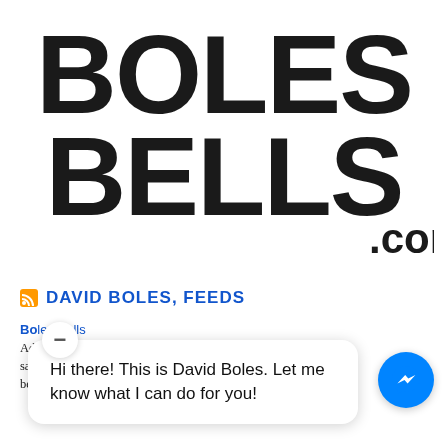[Figure (logo): Boles Bells .com logo in large distressed black block letters]
DAVID BOLES, FEEDS
Boles Bells — Adjusting ... to be saving and time-salvaging — but they are not what they appear to be...
[Figure (screenshot): Facebook Messenger chat bubble overlay: 'Hi there! This is David Boles. Let me know what I can do for you!' with minimize button and messenger icon]